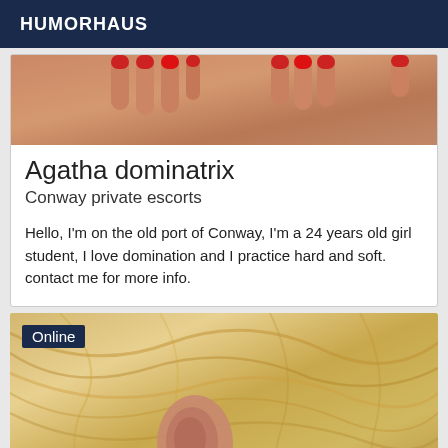HUMORHAUS
[Figure (photo): Close-up photo showing hands with red fingernails on skin]
Agatha dominatrix
Conway private escorts
Hello, I'm on the old port of Conway, I'm a 24 years old girl student, I love domination and I practice hard and soft. contact me for more info.
[Figure (photo): Close-up photo of a blonde woman's hair and ear with earring, with an 'Online' badge overlay]